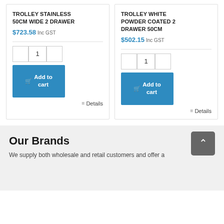TROLLEY STAINLESS 50CM WIDE 2 DRAWER
$723.58 Inc GST
Add to cart
Details
TROLLEY WHITE POWDER COATED 2 DRAWER 50CM
$502.15 Inc GST
Add to cart
Details
Our Brands
We supply both wholesale and retail customers and offer a